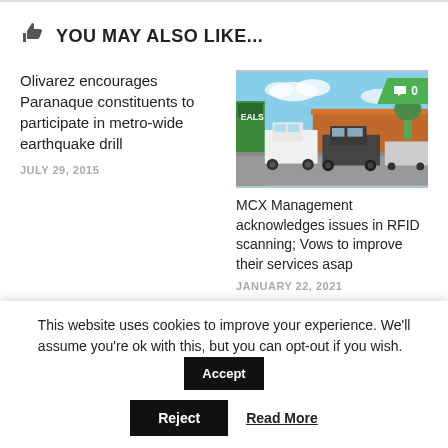YOU MAY ALSO LIKE...
Olivarez encourages Paranaque constituents to participate in metro-wide earthquake drill
JULY 29, 2015
[Figure (photo): Cars lined up at what appears to be a toll or parking area, with a green truck on the left and various vehicles in a queue.]
MCX Management acknowledges issues in RFID scanning; Vows to improve their services asap
JANUARY 22, 2021
This website uses cookies to improve your experience. We'll assume you're ok with this, but you can opt-out if you wish. Accept
Reject
Read More